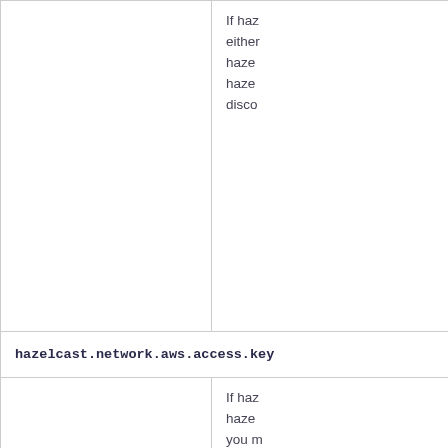| Property | Description |
| --- | --- |
|  | If haz either haze haze disco |
| hazelcast.network.aws.access.key |  |
|  | If haz haze you m key, in AWS |
| hazelcast.network.aws.secret.key |  |
|  | If haz haze you m in ord AWS |